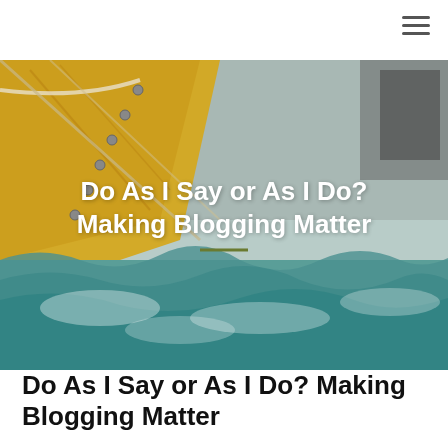[Figure (photo): Sailboat scene with yellow sail on the left and rough churning teal/green sea water, viewed from the deck. The image serves as a hero banner background.]
Do As I Say or As I Do? Making Blogging Matter
Do As I Say or As I Do? Making Blogging Matter